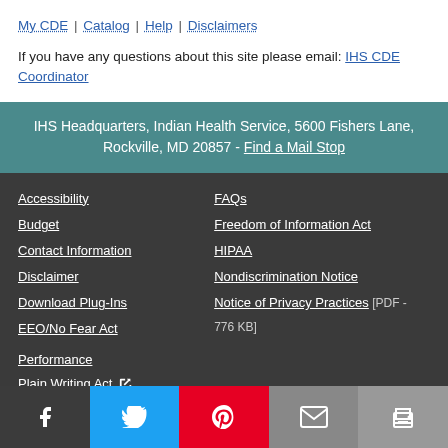My CDE | Catalog | Help | Disclaimers
If you have any questions about this site please email: IHS CDE Coordinator
IHS Headquarters, Indian Health Service, 5600 Fishers Lane, Rockville, MD 20857 - Find a Mail Stop
Accessibility
Budget
Contact Information
Disclaimer
Download Plug-Ins
EEO/No Fear Act
FAQs
Freedom of Information Act
HIPAA
Nondiscrimination Notice
Notice of Privacy Practices [PDF - 776 KB]
Performance
Plain Writing Act
The White House